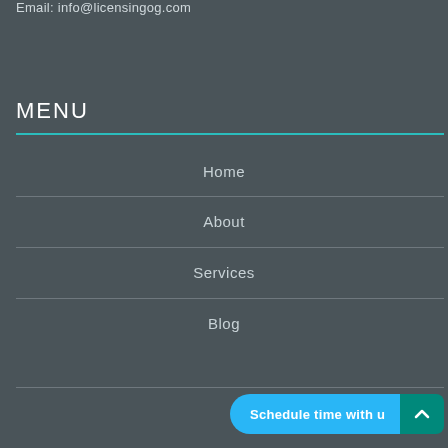Email: info@licensingog.com
MENU
Home
About
Services
Blog
Schedule time with u